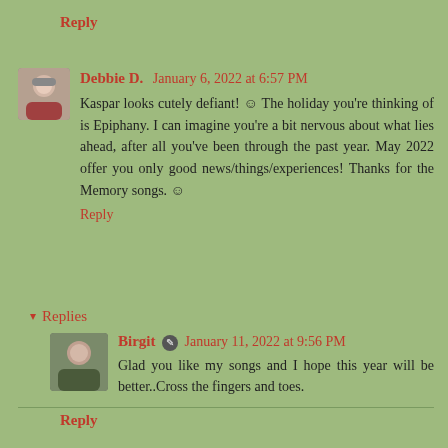Reply
Debbie D.  January 6, 2022 at 6:57 PM
Kaspar looks cutely defiant! © The holiday you're thinking of is Epiphany. I can imagine you're a bit nervous about what lies ahead, after all you've been through the past year. May 2022 offer you only good news/things/experiences! Thanks for the Memory songs. ©
Reply
Replies
Birgit  January 11, 2022 at 9:56 PM
Glad you like my songs and I hope this year will be better..Cross the fingers and toes.
Reply